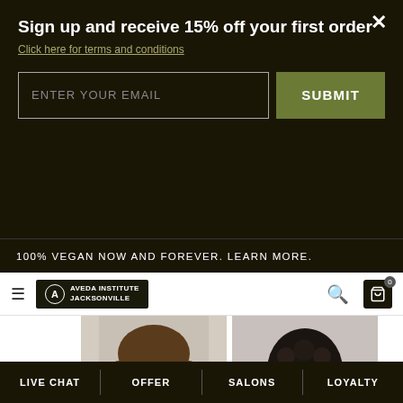Sign up and receive 15% off your first order
Click here for terms and conditions
ENTER YOUR EMAIL
SUBMIT
100% VEGAN NOW AND FOREVER. LEARN MORE.
[Figure (logo): Aveda Institute Jacksonville logo — circular emblem with 'A' on dark background with text]
[Figure (photo): Young man with medium-length brown hair in white t-shirt, looking at camera, hair salon photo]
[Figure (photo): Woman's back view showing elaborate braided updo hairstyle with dark black hair, wearing gold dress]
[Figure (photo): Woman with dark straight hair with blue highlights, partial view from behind]
[Figure (photo): Woman with reddish-brown hair, seen from behind]
LIVE CHAT | OFFER | SALONS | LOYALTY